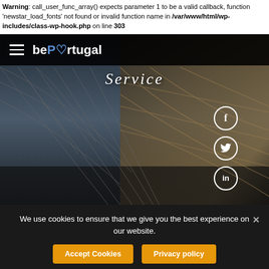Warning: call_user_func_array() expects parameter 1 to be a valid callback, function 'newstar_load_fonts' not found or invalid function name in /var/www/html/wp-includes/class-wp-hook.php on line 303
[Figure (screenshot): bePortugal website header with dark navigation bar showing hamburger menu and bePortugal logo with heart icon, and 'Service' title over a photo of an airport terminal interior with glass arched ceiling. Social media icons (Facebook, Twitter, LinkedIn) are shown on the right side in circular outlines.]
We use cookies to ensure that we give you the best experience on our website.
Accept Cookies
Privacy policy